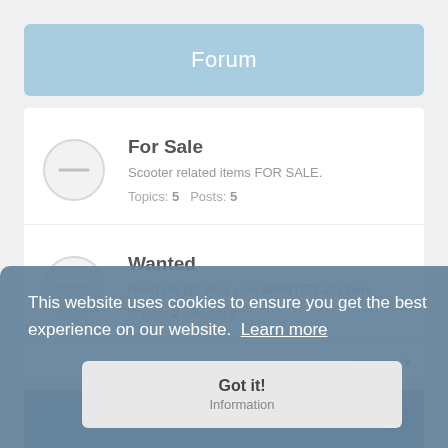Forum
For Sale
Scooter related items FOR SALE.
Topics: 5   Posts: 5
Wanted
Need Parts? Post your WANTED ads here.
Topics: 2   Posts: 2
Jump to
Information
This website uses cookies to ensure you get the best experience on our website.  Learn more
Got it!
Information